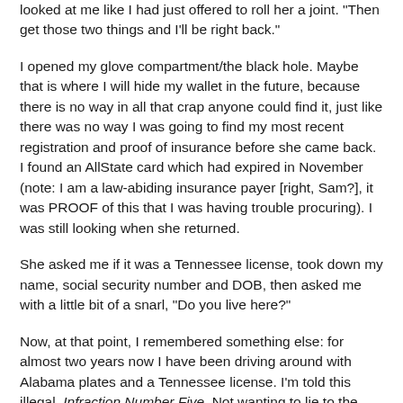looked at me like I had just offered to roll her a joint. "Then get those two things and I'll be right back."
I opened my glove compartment/the black hole. Maybe that is where I will hide my wallet in the future, because there is no way in all that crap anyone could find it, just like there was no way I was going to find my most recent registration and proof of insurance before she came back. I found an AllState card which had expired in November (note: I am a law-abiding insurance payer [right, Sam?], it was PROOF of this that I was having trouble procuring). I was still looking when she returned.
She asked me if it was a Tennessee license, took down my name, social security number and DOB, then asked me with a little bit of a snarl, "Do you live here?"
Now, at that point, I remembered something else: for almost two years now I have been driving around with Alabama plates and a Tennessee license. I'm told this illegal. Infraction Number Five. Not wanting to lie to the cop, I tell her yes.